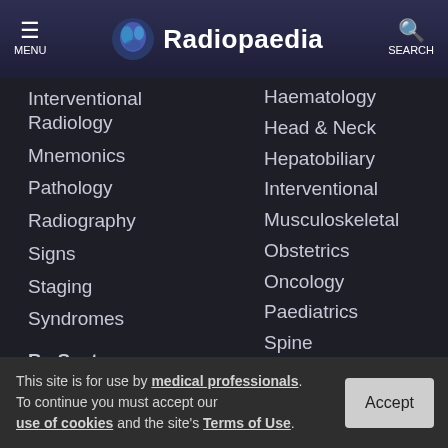Radiopaedia
Interventional Radiology
Mnemonics
Pathology
Radiography
Signs
Staging
Syndromes
By System:
Haematology
Head & Neck
Hepatobiliary
Interventional
Musculoskeletal
Obstetrics
Oncology
Paediatrics
Spine
Trauma
This site is for use by medical professionals. To continue you must accept our use of cookies and the site's Terms of Use.